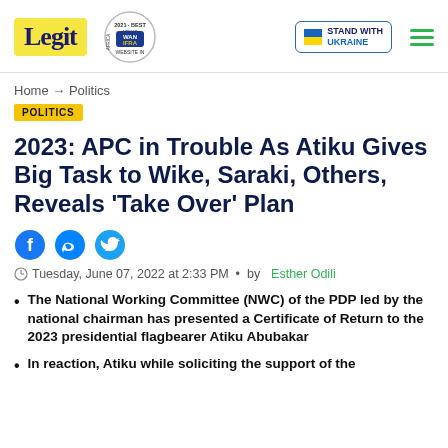Legit | WAN IFRA 2021 Best News Website in Africa | Stand With Ukraine
Home → Politics
POLITICS
2023: APC in Trouble As Atiku Gives Big Task to Wike, Saraki, Others, Reveals 'Take Over' Plan
Tuesday, June 07, 2022 at 2:33 PM • by Esther Odili
The National Working Committee (NWC) of the PDP led by the national chairman has presented a Certificate of Return to the 2023 presidential flagbearer Atiku Abubakar
In reaction, Atiku while soliciting the support of the